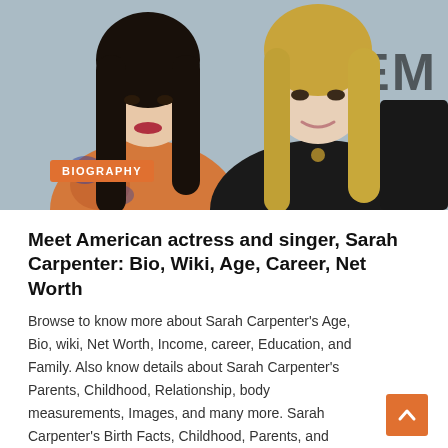[Figure (photo): Two young women posing together at an event. Left woman has long dark hair wearing a floral jacket, right woman has long blonde hair wearing a black outfit. Background shows partial 'EM' text (Emporio Armani logo). An orange 'BIOGRAPHY' badge overlays the bottom-left of the photo.]
Meet American actress and singer, Sarah Carpenter: Bio, Wiki, Age, Career, Net Worth
Browse to know more about Sarah Carpenter's Age, Bio, wiki, Net Worth, Income, career, Education, and Family. Also know details about Sarah Carpenter's Parents, Childhood, Relationship, body measurements, Images, and many more. Sarah Carpenter's Birth Facts, Childhood, Parents, and Family Sarah Carpenter…